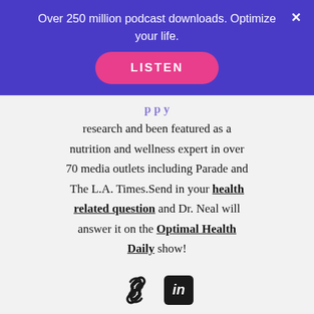Over 250 million podcast downloads. Optimize your life.
[Figure (other): Pink LISTEN button on purple banner]
research and been featured as a nutrition and wellness expert in over 70 media outlets including Parade and The L.A. Times.Send in your health related question and Dr. Neal will answer it on the Optimal Health Daily show!
[Figure (other): Social media icons: chain link and LinkedIn]